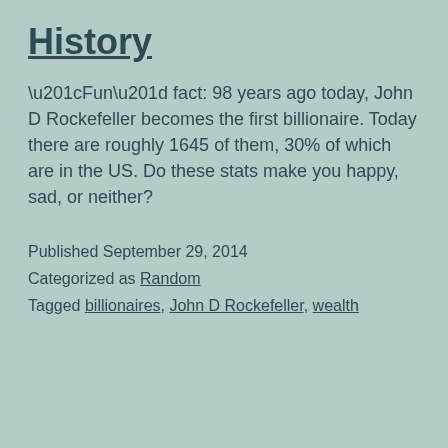History
“Fun” fact: 98 years ago today, John D Rockefeller becomes the first billionaire. Today there are roughly 1645 of them, 30% of which are in the US. Do these stats make you happy, sad, or neither?
Published September 29, 2014
Categorized as Random
Tagged billionaires, John D Rockefeller, wealth